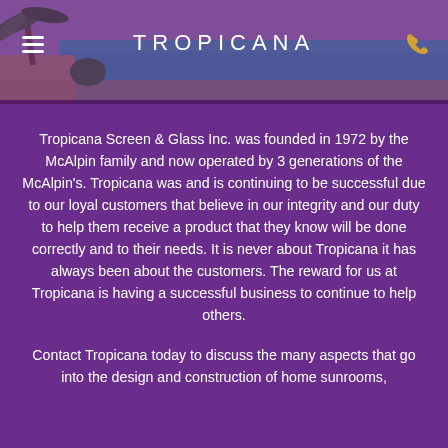[Figure (photo): Header image showing a swimming pool area with palm trees and patio, overlaid with a purple-tinted navigation bar showing the Tropicana logo, hamburger menu icon on the left, and phone icon on the right.]
Tropicana Screen & Glass Inc. was founded in 1972 by the McAlpin family and now operated by 3 generations of the McAlpin's. Tropicana was and is continuing to be successful due to our loyal customers that believe in our integrity and our duty to help them receive a product that they know will be done correctly and to their needs. It is never about Tropicana it has always been about the customers. The reward for us at Tropicana is having a successful business to continue to help others.
Contact Tropicana today to discuss the many aspects that go into the design and construction of home sunrooms,